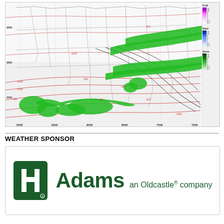[Figure (map): Weather forecast map of the southeastern United States and Gulf of Mexico region showing precipitation type overlays (freezing rain, sleet, snow) with contour lines. Green shading indicates precipitation areas. Color-coded legend on right side shows FrzR (freezing rain), Sleet, and Snow categories with values ranging from 0.1 to 14. Latitude markers at 25N, 30N, 35N and longitude markers from 95W to 70W.]
WEATHER SPONSOR
[Figure (logo): Adams an Oldcastle company logo. Dark green square icon with stylized letter A shape on left, followed by bold dark green 'Adams' text and smaller 'an Oldcastle® company' text.]